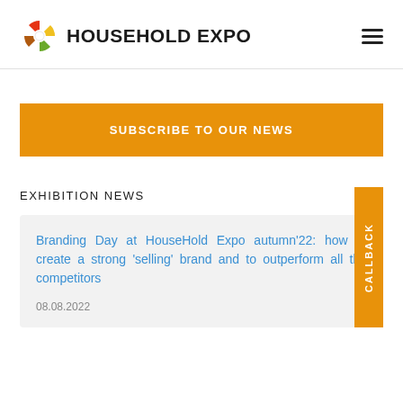HouseHold Expo
[Figure (logo): HouseHold Expo logo with colorful swirl icon and bold text]
SUBSCRIBE TO OUR NEWS
EXHIBITION NEWS
Branding Day at HouseHold Expo autumn'22: how to create a strong 'selling' brand and to outperform all the competitors
08.08.2022